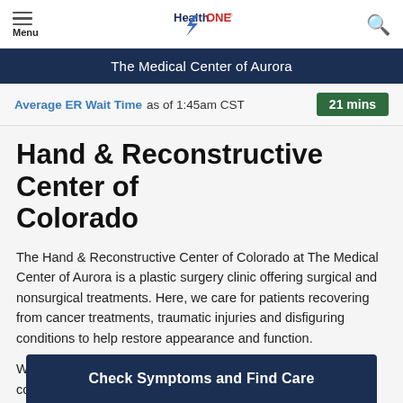Menu | HealthONE | Search
The Medical Center of Aurora
Average ER Wait Time as of 1:45am CST  21 mins
Hand & Reconstructive Center of Colorado
The Hand & Reconstructive Center of Colorado at The Medical Center of Aurora is a plastic surgery clinic offering surgical and nonsurgical treatments. Here, we care for patients recovering from cancer treatments, traumatic injuries and disfiguring conditions to help restore appearance and function.
We perform cosmetic procedures, such as face lifts and body contouring, to help restore... also perform hand and microvascular surgeries.
Check Symptoms and Find Care